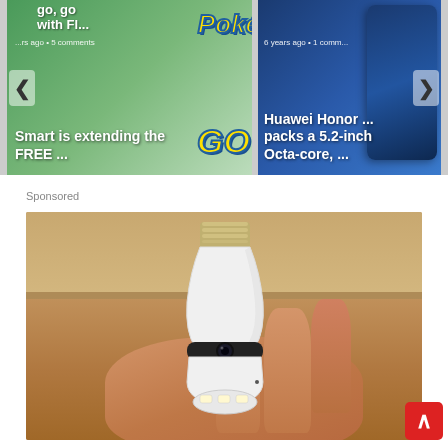[Figure (screenshot): Carousel of two article thumbnails. Left: Pokemon GO themed article overlay reading 'Smart is extending the FREE ...' with metadata '... rs ago • 5 comments'. Right: Huawei Honor phone article 'Huawei Honor ... packs a 5.2-inch Octa-core, ...' with metadata '6 years ago • 1 comm...'. Navigation arrows on left and right edges.]
Sponsored
[Figure (photo): Sponsored advertisement image showing a hand holding a white light bulb-shaped camera device with LED lights and a screw-in E27 base, against a wooden shelf background.]